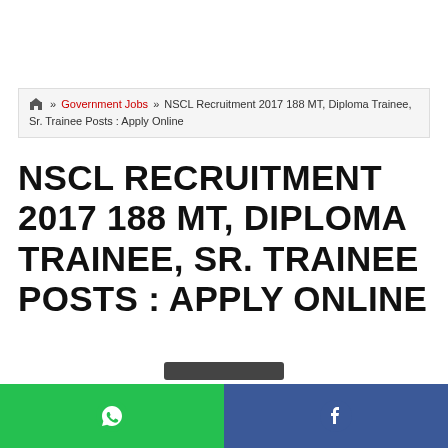🏠 » Government Jobs » NSCL Recruitment 2017 188 MT, Diploma Trainee, Sr. Trainee Posts : Apply Online
NSCL RECRUITMENT 2017 188 MT, DIPLOMA TRAINEE, SR. TRAINEE POSTS : APPLY ONLINE